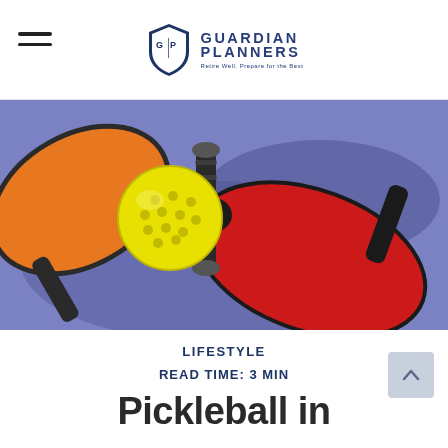Guardian Planners — Retire Well, Prepare for the Best
[Figure (photo): Close-up photo of two pickleball paddles (one orange, one red) and a yellow wiffle ball on a blue/purple court surface.]
LIFESTYLE
READ TIME: 3 MIN
Pickleball in